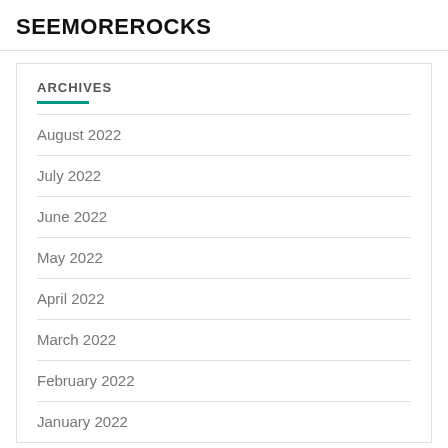SEEMOREROCKS
ARCHIVES
August 2022
July 2022
June 2022
May 2022
April 2022
March 2022
February 2022
January 2022